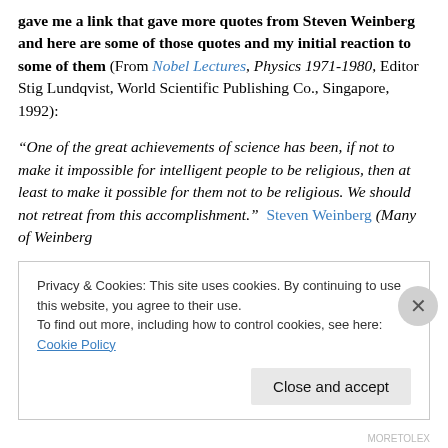gave me a link that gave more quotes from Steven Weinberg and here are some of those quotes and my initial reaction to some of them (From Nobel Lectures, Physics 1971-1980, Editor Stig Lundqvist, World Scientific Publishing Co., Singapore, 1992):
“One of the great achievements of science has been, if not to make it impossible for intelligent people to be religious, then at least to make it possible for them not to be religious. We should not retreat from this accomplishment.”  Steven Weinberg (Many of Weinberg
Privacy & Cookies: This site uses cookies. By continuing to use this website, you agree to their use.
To find out more, including how to control cookies, see here: Cookie Policy
MORETOLEX